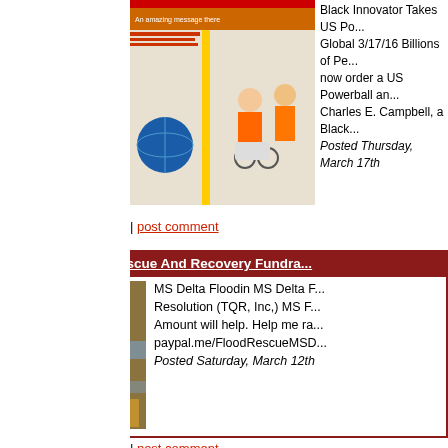[Figure (photo): Partial article image at top showing person in wheelchair with others]
Black Innovator Takes US Po... Global 3/17/16 Billions of Pe... now order a US Powerball an... Charles E. Campbell, a Black... Posted Thursday, March 17th
by: Charles Campbell | post comment
MS Delta Flood Rescue And Recovery Fundra...
[Figure (photo): Aerial photo of MS Delta flood showing flooded area with vehicles]
MS Delta Floodin MS Delta F... Resolution (TQR, Inc,) MS F... Amount will help. Help me ra... paypal.me/FloodRescueMSD... Posted Saturday, March 12th
by: Charles Campbell | post comment
Order A US Powerball Lottery Ticket Today (...
[Figure (photo): Headshot photo of Black man in suit smiling]
$157 Million Dollars US Pow... Drawing http://www.pbgoge... Go Getter Special Fee Down... https://play.google.com/store... Posted Wednesday, February
by: Charles Campbell | post comment
The US Powerball Lottery Drawing Tonight I...
[Figure (photo): Partial green image at bottom]